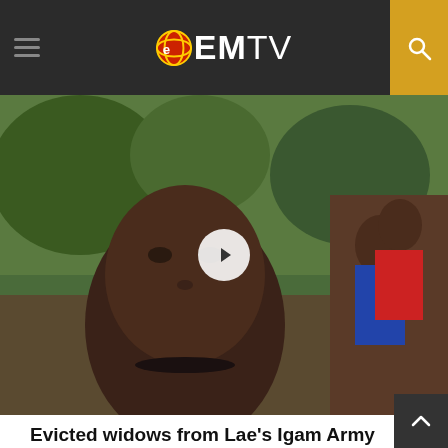EMTV
[Figure (photo): Close-up photo of an elderly woman's face, with trees and children visible in the background. A video play button overlay appears at center.]
Evicted widows from Lae's Igam Army Barracks resort to makeshift camp
[Figure (other): Advertisement or embed placeholder block, light grey background]